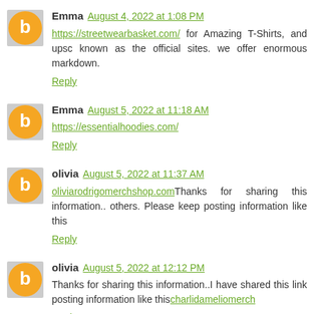Emma August 4, 2022 at 1:08 PM
https://streetwearbasket.com/ for Amazing T-Shirts, and upscale known as the official sites. we offer enormous markdown.
Reply
Emma August 5, 2022 at 11:18 AM
https://essentialhoodies.com/
Reply
olivia August 5, 2022 at 11:37 AM
oliviarodrigomerchshop.comThanks for sharing this information... others. Please keep posting information like this
Reply
olivia August 5, 2022 at 12:12 PM
Thanks for sharing this information..I have shared this link posting information like thischarlidameliomerch
Reply